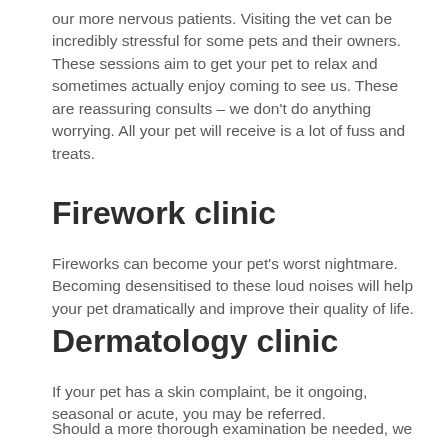our more nervous patients. Visiting the vet can be incredibly stressful for some pets and their owners. These sessions aim to get your pet to relax and sometimes actually enjoy coming to see us. These are reassuring consults – we don't do anything worrying. All your pet will receive is a lot of fuss and treats.
Firework clinic
Fireworks can become your pet's worst nightmare. Becoming desensitised to these loud noises will help your pet dramatically and improve their quality of life.
Dermatology clinic
If your pet has a skin complaint, be it ongoing, seasonal or acute, you may be referred.
Should a more thorough examination be needed, we may need to get a skin sample from your pet.
Neutering clinic